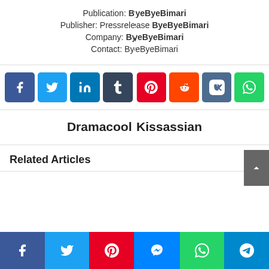Publication: ByeByeBimari
Publisher: Pressrelease ByeByeBimari
Company: ByeByeBimari
Contact: ByeByeBimari
[Figure (infographic): Social share buttons: Facebook (blue), Twitter (cyan), LinkedIn (dark blue), Tumblr (dark navy), Pinterest (red), Reddit (orange-red), VK (dark blue-grey), WhatsApp (green)]
Dramacool Kissassian
Related Articles
[Figure (infographic): Bottom share bar with Facebook, Twitter, Pinterest, Messenger, WhatsApp, Telegram buttons]